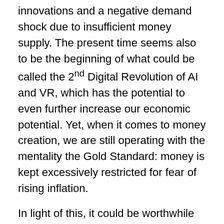innovations and a negative demand shock due to insufficient money supply. The present time seems also to be the beginning of what could be called the 2nd Digital Revolution of AI and VR, which has the potential to even further increase our economic potential. Yet, when it comes to money creation, we are still operating with the mentality the Gold Standard: money is kept excessively restricted for fear of rising inflation.
In light of this, it could be worthwhile to point out that there were actually periods of successful state money creation in the past: Rome in the last five centuries BC and China between 10th and 13th century. Why did state money creation work back then? Three main reasons:
massive prosperity on the back of the commercialization of previous innovations